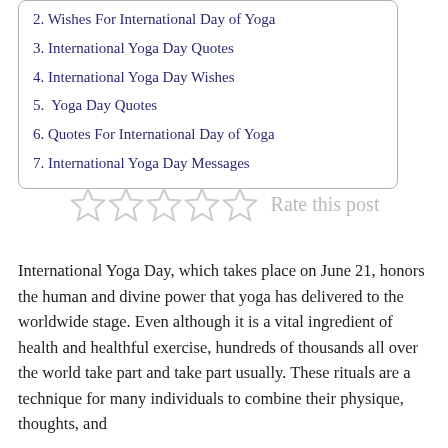2. Wishes For International Day of Yoga
3. International Yoga Day Quotes
4. International Yoga Day Wishes
5.  Yoga Day Quotes
6. Quotes For International Day of Yoga
7. International Yoga Day Messages
[Figure (other): Five empty star rating icons followed by the text 'Rate this post']
International Yoga Day, which takes place on June 21, honors the human and divine power that yoga has delivered to the worldwide stage. Even although it is a vital ingredient of health and healthful exercise, hundreds of thousands all over the world take part and take part usually. These rituals are a technique for many individuals to combine their physique, thoughts, and